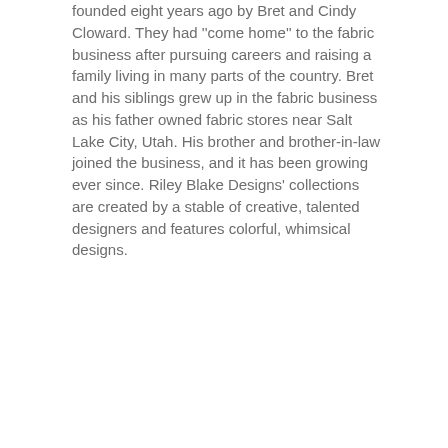founded eight years ago by Bret and Cindy Cloward. They had ''come home'' to the fabric business after pursuing careers and raising a family living in many parts of the country. Bret and his siblings grew up in the fabric business as his father owned fabric stores near Salt Lake City, Utah. His brother and brother-in-law joined the business, and it has been growing ever since. Riley Blake Designs' collections are created by a stable of creative, talented designers and features colorful, whimsical designs.